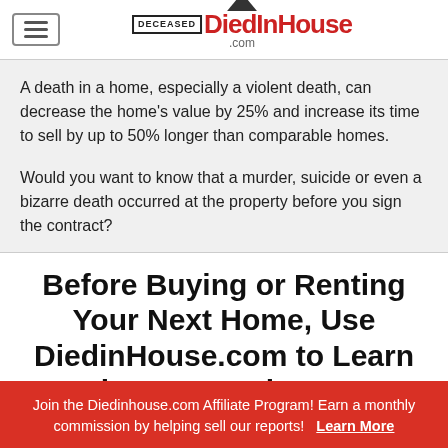DiedInHouse.com
A death in a home, especially a violent death, can decrease the home's value by 25% and increase its time to sell by up to 50% longer than comparable homes.
Would you want to know that a murder, suicide or even a bizarre death occurred at the property before you sign the contract?
Before Buying or Renting Your Next Home, Use DiedinHouse.com to Learn the House History!
Join the Diedinhouse.com Affiliate Program! Earn a monthly commission by helping sell our reports!    Learn More